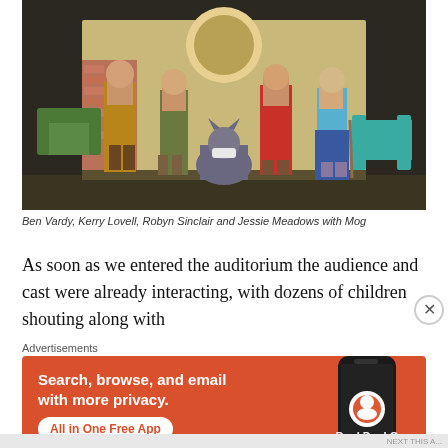[Figure (photo): Theatre stage photo showing five performers: a man in mustard cardigan, a woman in olive dress, a person crouched on the floor in a cat costume, a woman in red dress, and a woman in blue shirt and jeans. Stage set resembles a home interior with a green armchair, brick wall with round window, and teal chairs at a table.]
Ben Vardy, Kerry Lovell, Robyn Sinclair and Jessie Meadows with Mog
As soon as we entered the auditorium the audience and cast were already interacting, with dozens of children shouting along with
Advertisements
[Figure (screenshot): DuckDuckGo advertisement with orange background. Text reads: Search, browse, and email with more privacy. All in One Free App. Shows a dark smartphone with the DuckDuckGo logo and DuckDuckGo. text at bottom right.]